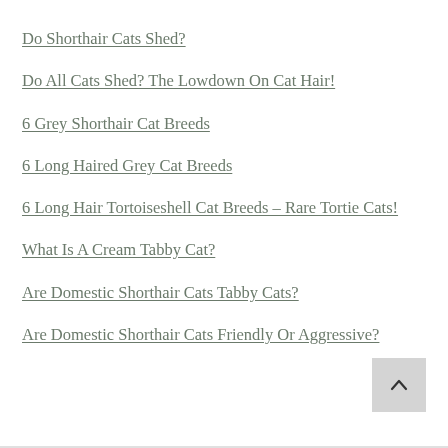Do Shorthair Cats Shed?
Do All Cats Shed? The Lowdown On Cat Hair!
6 Grey Shorthair Cat Breeds
6 Long Haired Grey Cat Breeds
6 Long Hair Tortoiseshell Cat Breeds – Rare Tortie Cats!
What Is A Cream Tabby Cat?
Are Domestic Shorthair Cats Tabby Cats?
Are Domestic Shorthair Cats Friendly Or Aggressive?